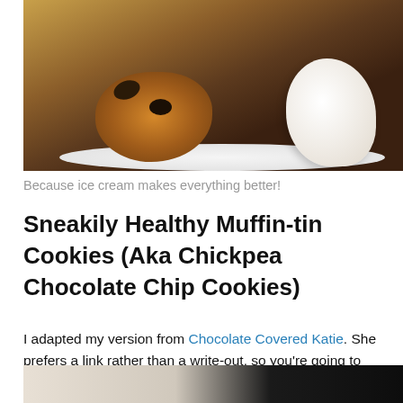[Figure (photo): Chocolate chip cookie on a white plate with a large scoop of whipped cream or ice cream, dark background]
Because ice cream makes everything better!
Sneakily Healthy Muffin-tin Cookies (Aka Chickpea Chocolate Chip Cookies)
I adapted my version from Chocolate Covered Katie. She prefers a link rather than a write-out, so you're going to have to go visiting for the full recipe… clicky click click! It's delicious, promise! Click the link for the original post; my notes are below.
[Figure (photo): Bottom portion of a food photo, appears to show ice cream or whipped cream on a dark background]